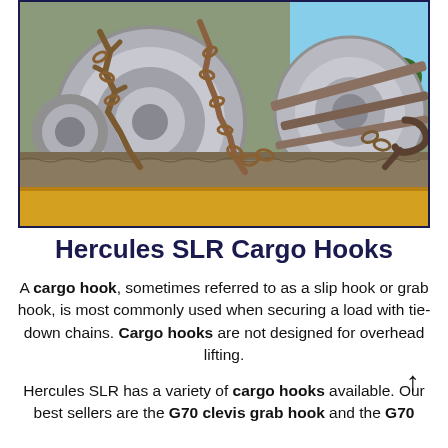[Figure (photo): Photograph of large metal coils/rolls secured with rusty chains and cargo hooks on a flatbed truck or transport vehicle, showing chain binders and tie-down hardware on a yellow rail]
Hercules SLR Cargo Hooks
A cargo hook, sometimes referred to as a slip hook or grab hook, is most commonly used when securing a load with tie-down chains. Cargo hooks are not designed for overhead lifting.
Hercules SLR has a variety of cargo hooks available. Our best sellers are the G70 clevis grab hook and the G70